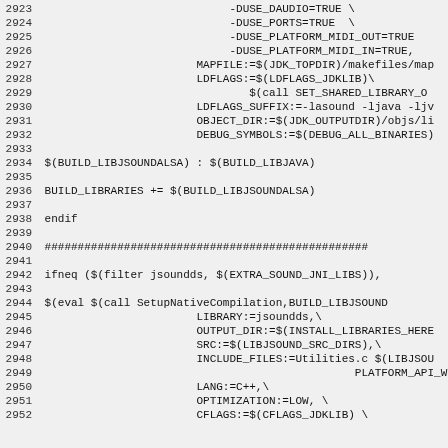Source code / Makefile snippet, lines 2923–2952
2923    -DUSE_DAUDIO=TRUE \
2924    -DUSE_PORTS=TRUE  \
2925    -DUSE_PLATFORM_MIDI_OUT=TRUE
2926    -DUSE_PLATFORM_MIDI_IN=TRUE,
2927    MAPFILE:=$(JDK_TOPDIR)/makefiles/map
2928    LDFLAGS:=$(LDFLAGS_JDKLIB)\
2929            $(call SET_SHARED_LIBRARY_O
2930    LDFLAGS_SUFFIX:=-lasound -ljava -ljv
2931    OBJECT_DIR:=$(JDK_OUTPUTDIR)/objs/li
2932    DEBUG_SYMBOLS:=$(DEBUG_ALL_BINARIES)
2933
2934 $(BUILD_LIBJSOUNDALSA) : $(BUILD_LIBJAVA)
2935
2936 BUILD_LIBRARIES += $(BUILD_LIBJSOUNDALSA)
2937
2938 endif
2939
2940 ###################################################
2941
2942 ifneq ($(filter jsoundds, $(EXTRA_SOUND_JNI_LIBS)),
2943
2944 $(eval $(call SetupNativeCompilation,BUILD_LIBJSOUND
2945            LIBRARY:=jsoundds,\
2946            OUTPUT_DIR:=$(INSTALL_LIBRARIES_HERE
2947            SRC:=$(LIBJSOUND_SRC_DIRS),\
2948            INCLUDE_FILES:=Utilities.c $(LIBJSO
2949                                    PLATFORM_API_WinOS_D
2950            LANG:=C++,\
2951            OPTIMIZATION:=LOW, \
2952            CFLAGS:=$(CFLAGS_JDKLIB) \